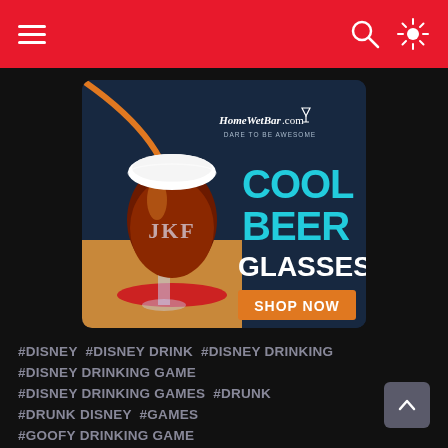Navigation bar with hamburger menu, search and brightness icons
[Figure (illustration): HomeWetBar.com advertisement banner showing a monogrammed beer glass with 'JKF' engraving filled with dark beer, alongside text: COOL BEER GLASSES, SHOP NOW button in orange, HomeWetBar.com logo with tagline DARE TO BE AWESOME, dark navy background with orange accent arc]
#DISNEY #DISNEY DRINK #DISNEY DRINKING #DISNEY DRINKING GAME #DISNEY DRINKING GAMES #DRUNK #DRUNK DISNEY #GAMES #GOOFY DRINKING GAME #GOOFY DRINKING GAMES